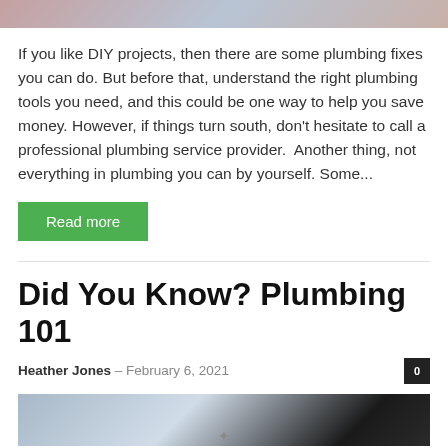[Figure (photo): Top portion of a photograph showing a person, cropped to show face/upper body area]
If you like DIY projects, then there are some plumbing fixes you can do. But before that, understand the right plumbing tools you need, and this could be one way to help you save money. However, if things turn south, don't hesitate to call a professional plumbing service provider.  Another thing, not everything in plumbing you can by yourself. Some...
Read more
Did You Know? Plumbing 101
Heather Jones – February 6, 2021
[Figure (photo): Bottom portion of a photograph related to plumbing, showing plumbing fixtures or tools with a light blue background]